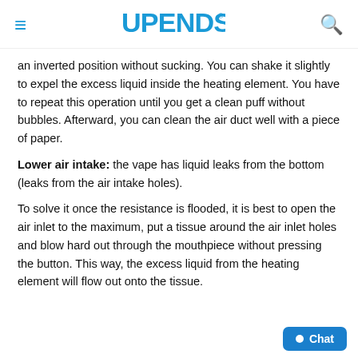UPENDS
an inverted position without sucking. You can shake it slightly to expel the excess liquid inside the heating element. You have to repeat this operation until you get a clean puff without bubbles. Afterward, you can clean the air duct well with a piece of paper.
Lower air intake: the vape has liquid leaks from the bottom (leaks from the air intake holes).
To solve it once the resistance is flooded, it is best to open the air inlet to the maximum, put a tissue around the air inlet holes and blow hard out through the mouthpiece without pressing the button. This way, the excess liquid from the heating element will flow out onto the tissue.